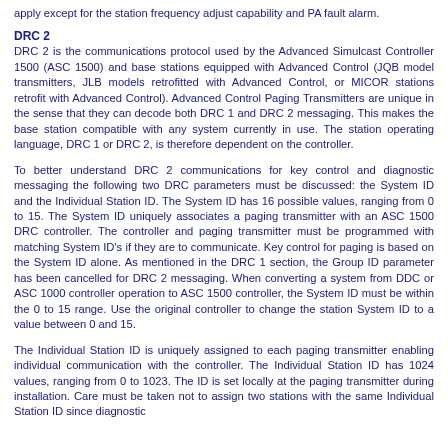apply except for the station frequency adjust capability and PA fault alarm.
DRC 2
DRC 2 is the communications protocol used by the Advanced Simulcast Controller 1500 (ASC 1500) and base stations equipped with Advanced Control (JQB model transmitters, JLB models retrofitted with Advanced Control, or MICOR stations retrofit with Advanced Control). Advanced Control Paging Transmitters are unique in the sense that they can decode both DRC 1 and DRC 2 messaging. This makes the base station compatible with any system currently in use. The station operating language, DRC 1 or DRC 2, is therefore dependent on the controller.
To better understand DRC 2 communications for key control and diagnostic messaging the following two DRC parameters must be discussed: the System ID and the Individual Station ID. The System ID has 16 possible values, ranging from 0 to 15. The System ID uniquely associates a paging transmitter with an ASC 1500 DRC controller. The controller and paging transmitter must be programmed with matching System ID's if they are to communicate. Key control for paging is based on the System ID alone. As mentioned in the DRC 1 section, the Group ID parameter has been cancelled for DRC 2 messaging. When converting a system from DDC or ASC 1000 controller operation to ASC 1500 controller, the System ID must be within the 0 to 15 range. Use the original controller to change the station System ID to a value between 0 and 15.
The Individual Station ID is uniquely assigned to each paging transmitter enabling individual communication with the controller. The Individual Station ID has 1024 values, ranging from 0 to 1023. The ID is set locally at the paging transmitter during installation. Care must be taken not to assign two stations with the same Individual Station ID since diagnostic